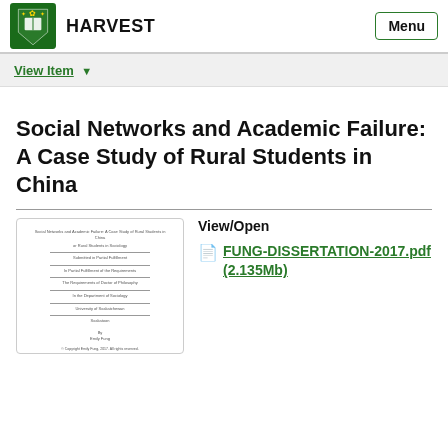HARVEST
View Item
Social Networks and Academic Failure: A Case Study of Rural Students in China
[Figure (illustration): Thumbnail preview of dissertation title page for FUNG-DISSERTATION-2017.pdf]
View/Open
FUNG-DISSERTATION-2017.pdf (2.135Mb)